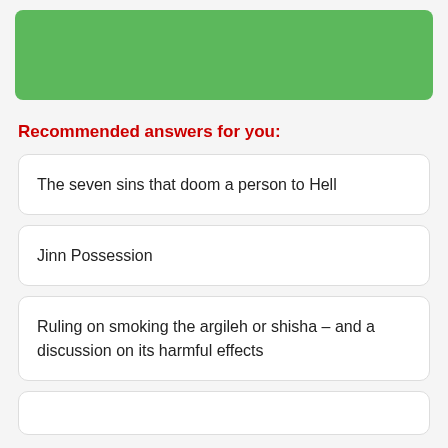[Figure (other): Green rounded rectangle banner at the top of the page]
Recommended answers for you:
The seven sins that doom a person to Hell
Jinn Possession
Ruling on smoking the argileh or shisha – and a discussion on its harmful effects